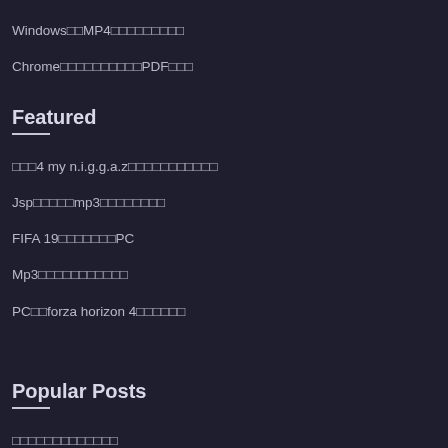Windows□□MP4□□□□□□□□□□□
Chrome□□□□□□□□□□□PDF□□□
Featured
□□□4 my n.i.g.g.a.z□□□□□□□□□□□□□
Jsp□□□□□mp3□□□□□□□□□□
FIFA 19□□□□□□□□PC
Mp3□□□□□□□□□□□□□
PC□□forza horizon 4□□□□□□
Popular Posts
□□□□□□□□□□□□□□
□□□□□□□□□□□mp3
Magic nstascan□□□□□□□□□□□□□